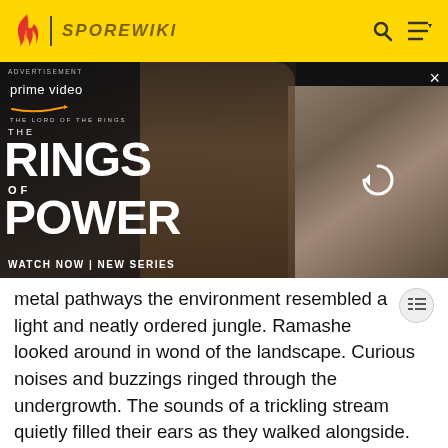SPOREWIKI
[Figure (screenshot): Amazon Prime Video advertisement for 'The Lord of the Rings: The Rings of Power' showing a dark hooded figure and characters, with text 'WATCH NOW | NEW SERIES']
metal pathways the environment resembled a light and neatly ordered jungle. Ramashe looked around in wonder of the landscape. Curious noises and buzzings ringed through the undergrowth. The sounds of a trickling stream quietly filled their ears as they walked alongside. Looking at the water Ramcard spotted a smal lgroup of flying animals that drifted on the surface. Like many plants on Alcanti, a deep red was the characteristic colour of plants, not green.